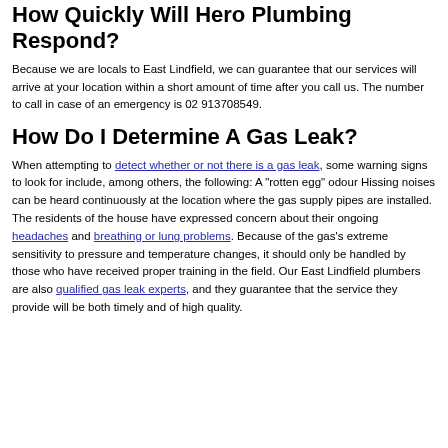How Quickly Will Hero Plumbing Respond?
Because we are locals to East Lindfield, we can guarantee that our services will arrive at your location within a short amount of time after you call us. The number to call in case of an emergency is 02 913708549.
How Do I Determine A Gas Leak?
When attempting to detect whether or not there is a gas leak, some warning signs to look for include, among others, the following: A "rotten egg" odour Hissing noises can be heard continuously at the location where the gas supply pipes are installed. The residents of the house have expressed concern about their ongoing headaches and breathing or lung problems. Because of the gas's extreme sensitivity to pressure and temperature changes, it should only be handled by those who have received proper training in the field. Our East Lindfield plumbers are also qualified gas leak experts, and they guarantee that the service they provide will be both timely and of high quality.